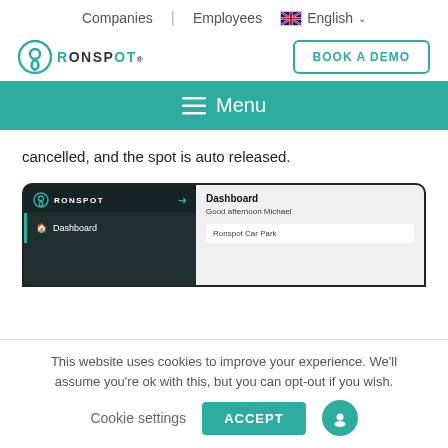Companies | Employees 🇬🇧 English ∨
[Figure (logo): Ronspot logo with teal pin icon and text RONSPOT]
BOOK A DEMO
≡ Menu
cancelled, and the spot is auto released.
[Figure (screenshot): Ronspot dashboard app screenshot showing sidebar with Dashboard navigation item and main panel with 'Good afternoon Michael' and 'Ronspot Car Park']
This website uses cookies to improve your experience. We'll assume you're ok with this, but you can opt-out if you wish.
Cookie settings   ACCEPT